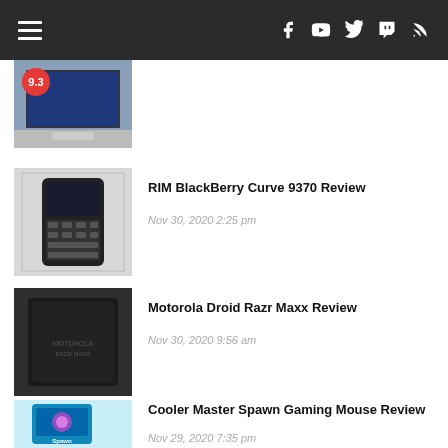Navigation bar with hamburger menu and social icons: Facebook, YouTube, Twitter, Twitch, RSS
[Figure (photo): Laptop photo with 9.3 score badge (partial, top of list)]
[Figure (photo): RIM BlackBerry Curve 9370 phone in box]
RIM BlackBerry Curve 9370 Review
Nov 30, 2020 2:25 pm
[Figure (photo): Motorola Droid Razr Maxx box]
Motorola Droid Razr Maxx Review
Nov 30, 2020 9:56 am
[Figure (photo): Cooler Master Spawn Gaming Mouse product box]
Cooler Master Spawn Gaming Mouse Review
Nov 29, 2020 7:35 pm